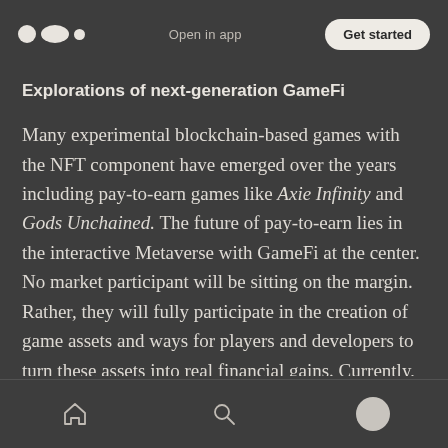Open in app | Get started
Explorations of next-generation GameFi
Many experimental blockchain-based games with the NFT component have emerged over the years including pay-to-earn games like Axie Infinity and Gods Unchained. The future of pay-to-earn lies in the interactive Metaverse with GameFi at the center. No market participant will be sitting on the margin. Rather, they will fully participate in the creation of game assets and ways for players and developers to turn these assets into real financial gains. Currently, these pay-to-earn
Home | Search | Profile